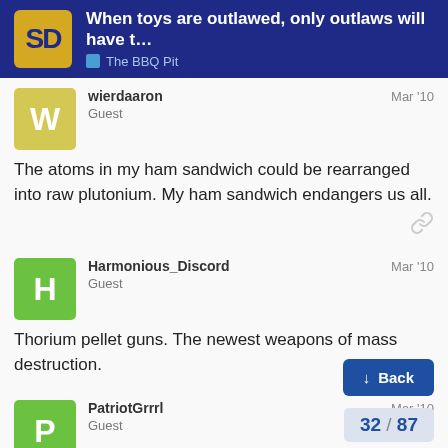When toys are outlawed, only outlaws will have t... | The BBQ Pit
wierdaaron
Guest
Mar '10
The atoms in my ham sandwich could be rearranged into raw plutonium. My ham sandwich endangers us all.
Harmonious_Discord
Guest
Mar '10
Thorium pellet guns. The newest weapons of mass destruction.
PatriotGrrrl
Guest
Mar '10
32 / 87